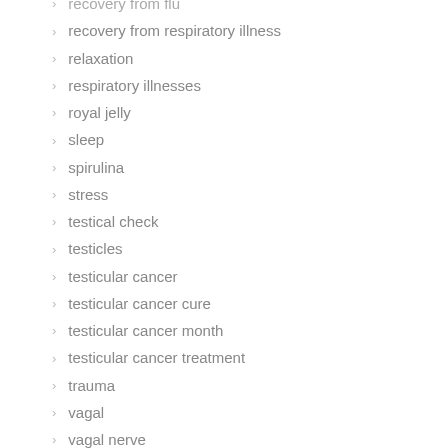recovery from flu
recovery from respiratory illness
relaxation
respiratory illnesses
royal jelly
sleep
spirulina
stress
testical check
testicles
testicular cancer
testicular cancer cure
testicular cancer month
testicular cancer treatment
trauma
vagal
vagal nerve
vagus
vagus nerve
vascular
vascular health